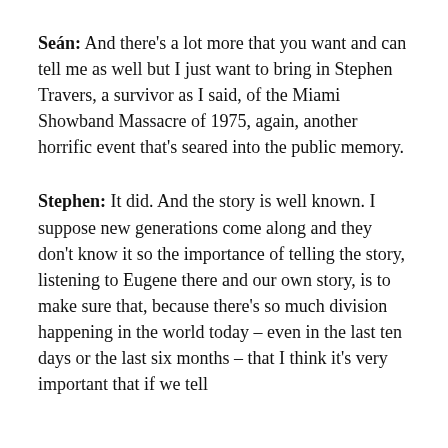Seán:  And there's a lot more that you want and can tell me as well but I just want to bring in Stephen Travers, a survivor as I said, of the Miami Showband Massacre of 1975, again, another horrific event that's seared into the public memory.
Stephen:  It did. And the story is well known. I suppose new generations come along and they don't know it so the importance of telling the story, listening to Eugene there and our own story, is to make sure that, because there's so much division happening in the world today – even in the last ten days or the last six months – that I think it's very important that if we tell